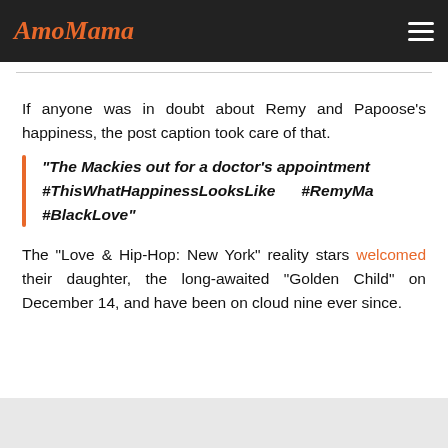AmoMama
If anyone was in doubt about Remy and Papoose’s happiness, the post caption took care of that.
“The Mackies out for a doctor’s appointment #ThisWhatHappinessLooksLike #RemyMa #BlackLove”
The “Love & Hip-Hop: New York” reality stars welcomed their daughter, the long-awaited “Golden Child” on December 14, and have been on cloud nine ever since.